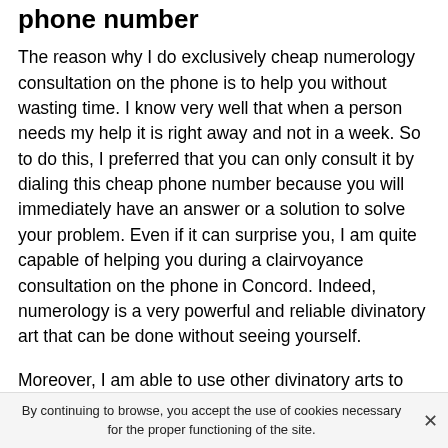phone number
The reason why I do exclusively cheap numerology consultation on the phone is to help you without wasting time. I know very well that when a person needs my help it is right away and not in a week. So to do this, I preferred that you can only consult it by dialing this cheap phone number because you will immediately have an answer or a solution to solve your problem. Even if it can surprise you, I am quite capable of helping you during a clairvoyance consultation on the phone in Concord. Indeed, numerology is a very powerful and reliable divinatory art that can be done without seeing yourself.
Moreover, I am able to use other divinatory arts to help you even if I prefer numerology, I am able to use pure clairvoyance in Concord, tarot cards, mediumship, and others. I do this most often in order to confirm what the
By continuing to browse, you accept the use of cookies necessary for the proper functioning of the site.